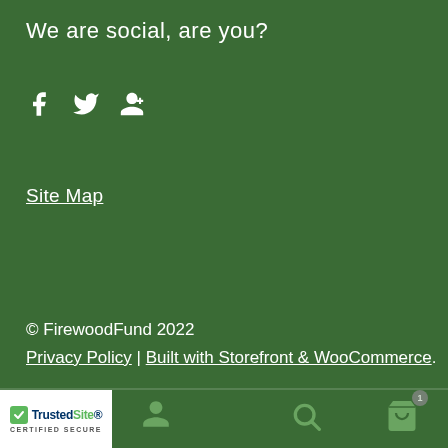We are social, are you?
[Figure (illustration): Social media icons: Facebook, Twitter, Google+]
Site Map
© FirewoodFund 2022
Privacy Policy | Built with Storefront & WooCommerce.
[Figure (infographic): Bottom navigation bar with TrustedSite badge, user icon, search icon, and shopping cart icon with badge showing 1 item]